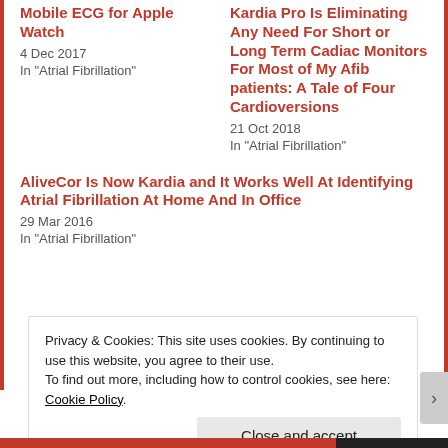Mobile ECG for Apple Watch
4 Dec 2017
In "Atrial Fibrillation"
Kardia Pro Is Eliminating Any Need For Short or Long Term Cadiac Monitors For Most of My Afib patients: A Tale of Four Cardioversions
21 Oct 2018
In "Atrial Fibrillation"
AliveCor Is Now Kardia and It Works Well At Identifying Atrial Fibrillation At Home And In Office
29 Mar 2016
In "Atrial Fibrillation"
Privacy & Cookies: This site uses cookies. By continuing to use this website, you agree to their use.
To find out more, including how to control cookies, see here: Cookie Policy
Close and accept